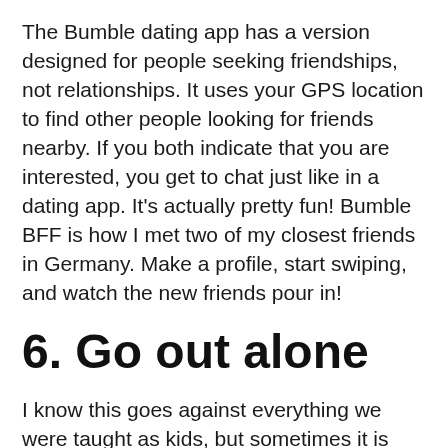The Bumble dating app has a version designed for people seeking friendships, not relationships. It uses your GPS location to find other people looking for friends nearby. If you both indicate that you are interested, you get to chat just like in a dating app. It's actually pretty fun! Bumble BFF is how I met two of my closest friends in Germany. Make a profile, start swiping, and watch the new friends pour in!
6. Go out alone
I know this goes against everything we were taught as kids, but sometimes it is okay to go out by yourself and chat with strangers. Obviously, observe personal safety measures when meeting new